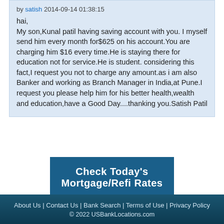by satish 2014-09-14 01:38:15
hai, My son,Kunal patil having saving account with you. I myself send him every month for$625 on his account.You are charging him $16 every time.He is staying there for education not for service.He is student. considering this fact,I request you not to charge any amount.as i am also Banker and working as Branch Manager in India,at Pune.I request you please help him for his better health,wealth and education,have a Good Day....thanking you.Satish Patil
[Figure (other): Banner ad button: Check Today's Mortgage/Refi Rates]
About Us | Contact Us | Bank Search | Terms of Use | Privacy Policy © 2022 USBankLocations.com